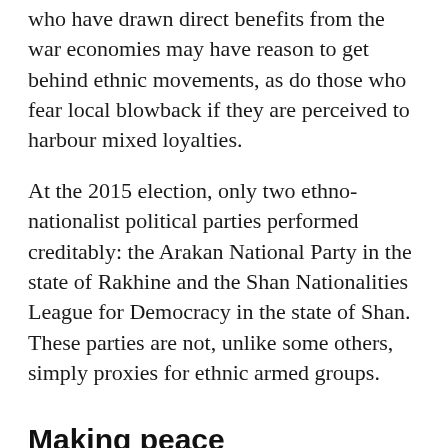who have drawn direct benefits from the war economies may have reason to get behind ethnic movements, as do those who fear local blowback if they are perceived to harbour mixed loyalties.
At the 2015 election, only two ethno-nationalist political parties performed creditably: the Arakan National Party in the state of Rakhine and the Shan Nationalities League for Democracy in the state of Shan. These parties are not, unlike some others, simply proxies for ethnic armed groups.
Making peace
With its bumper majority, the major test for the NLD's approach to ethnic affairs will therefore be the peace process, in which dozens of ethnic armed groups will want a seat at the table, pushing their